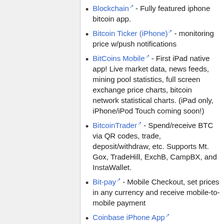Blockchain - Fully featured iphone bitcoin app.
Bitcoin Ticker (iPhone) - monitoring price w/push notifications
BitCoins Mobile - First iPad native app! Live market data, news feeds, mining pool statistics, full screen exchange price charts, bitcoin network statistical charts. (iPad only, iPhone/iPod Touch coming soon!)
BitcoinTrader - Spend/receive BTC via QR codes, trade, deposit/withdraw, etc. Supports Mt. Gox, TradeHill, ExchB, CampBX, and InstaWallet.
Bit-pay - Mobile Checkout, set prices in any currency and receive mobile-to-mobile payment
Coinbase iPhone App